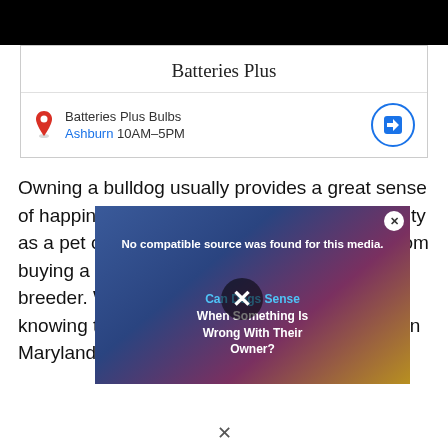[Figure (screenshot): Black bar at top representing a video or image banner area]
Batteries Plus
Batteries Plus Bulbs
Ashburn 10AM–5PM
Owning a bulldog usually provides a great sense of happiness and, of course, better responsibility as a pet owner. Moreover, it generally starts from buying a healthy bulldog breed from a reliable breeder. With this comes the responsibility of knowing the list of reputable bulldog breeders in Maryland and in other communities as well.
[Figure (screenshot): Video overlay popup with message 'No compatible source was found for this media.' and title 'Can Dogs Sense When Something Is Wrong With Their Owner?' with an X close button]